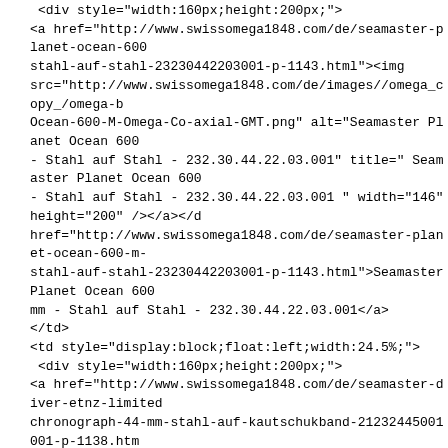<div style="width:160px;height:200px;">
<a href="http://www.swissomega1848.com/de/seamaster-planet-ocean-600
stahl-auf-stahl-23230442203001-p-1143.html"><img
src="http://www.swissomega1848.com/de/images//omega_copy_/omega-b
Ocean-600-M-Omega-Co-axial-GMT.png" alt="Seamaster Planet Ocean 600
- Stahl auf Stahl - 232.30.44.22.03.001" title=" Seamaster Planet Ocean 600
- Stahl auf Stahl - 232.30.44.22.03.001 " width="146" height="200" /></a></d
href="http://www.swissomega1848.com/de/seamaster-planet-ocean-600-m-
stahl-auf-stahl-23230442203001-p-1143.html">Seamaster Planet Ocean 600
mm - Stahl auf Stahl - 232.30.44.22.03.001</a>
</td>
<td style="display:block;float:left;width:24.5%;">
<div style="width:160px;height:200px;">
<a href="http://www.swissomega1848.com/de/seamaster-diver-etnz-limited
chronograph-44-mm-stahl-auf-kautschukband-21232445001001-p-1138.htm
src="http://www.swissomega1848.com/de/images//omega_copy_/omega-b
seamaster/Seamaster-Diver-ETNZ-LIMITED-EDITION-300-M-Co.png" alt="S
EDITION 300 M Co-Axial Chronograph 44 mm - Stahl auf Kautschukband -
Seamaster Diver ETNZ LIMITED EDITION 300 M Co-Axial Chronograph 44 m
212.32.44.50.01.001 " width="146" height="200" /></a></div><a
href="http://www.swissomega1848.com/de/seamaster-diver-etnz-limited-ec
44-mm-stahl-auf-kautschukband-21232445001001-p-1138.html">Seamaste
300 M Co-Axial Chronograph 44 mm - Stahl auf Kautschukband - 212.32.44
</td>
<td style="display:block;float:left;width:24.5%;">